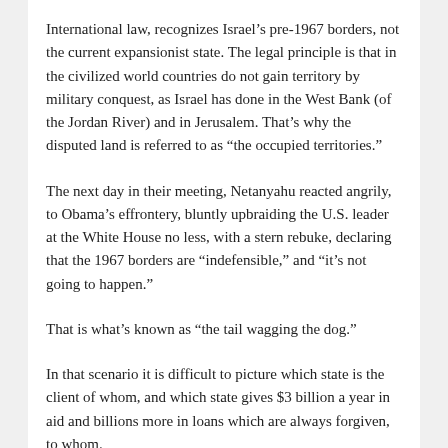International law, recognizes Israel’s pre-1967 borders, not the current expansionist state. The legal principle is that in the civilized world countries do not gain territory by military conquest, as Israel has done in the West Bank (of the Jordan River) and in Jerusalem. That’s why the disputed land is referred to as “the occupied territories.”
The next day in their meeting, Netanyahu reacted angrily, to Obama’s effrontery, bluntly upbraiding the U.S. leader at the White House no less, with a stern rebuke, declaring that the 1967 borders are “indefensible,” and “it’s not going to happen.”
That is what’s known as “the tail wagging the dog.”
In that scenario it is difficult to picture which state is the client of whom, and which state gives $3 billion a year in aid and billions more in loans which are always forgiven, to whom.